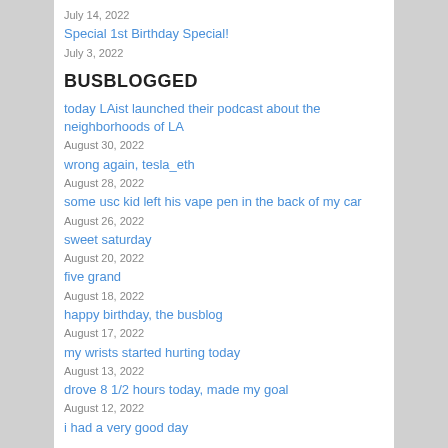July 14, 2022
Special 1st Birthday Special!
July 3, 2022
BUSBLOGGED
today LAist launched their podcast about the neighborhoods of LA
August 30, 2022
wrong again, tesla_eth
August 28, 2022
some usc kid left his vape pen in the back of my car
August 26, 2022
sweet saturday
August 20, 2022
five grand
August 18, 2022
happy birthday, the busblog
August 17, 2022
my wrists started hurting today
August 13, 2022
drove 8 1/2 hours today, made my goal
August 12, 2022
i had a very good day